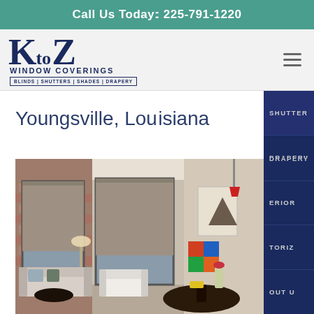Call Us Today: 225-791-1220
[Figure (logo): K to Z Window Coverings logo with tagline BLINDS | SHUTTERS | SHADES | DRAPERY]
Youngsville, Louisiana
[Figure (photo): Interior room photo showing window shades/roller blinds on large windows, with sofa, chairs, dining table and decorative artwork]
SHUTTER
DRAPERY
ERIOR
TORIZ
OUT U